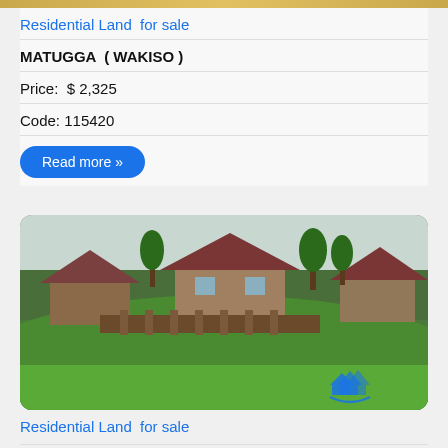Residential Land  for sale
MATUGGA  ( WAKISO )
Price:  $ 2,325
Code: 115420
Read more »
[Figure (photo): Residential land for sale in Matugga, Wakiso. Photo shows a grassy hillside with several houses with red/brown roofs visible in the background, surrounded by trees and vegetation. A real estate company watermark/logo is visible in the bottom right corner.]
Residential Land  for sale